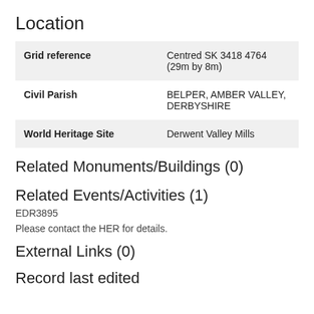Location
| Grid reference | Centred SK 3418 4764 (29m by 8m) |
| Civil Parish | BELPER, AMBER VALLEY, DERBYSHIRE |
| World Heritage Site | Derwent Valley Mills |
Related Monuments/Buildings (0)
Related Events/Activities (1)
EDR3895
Please contact the HER for details.
External Links (0)
Record last edited